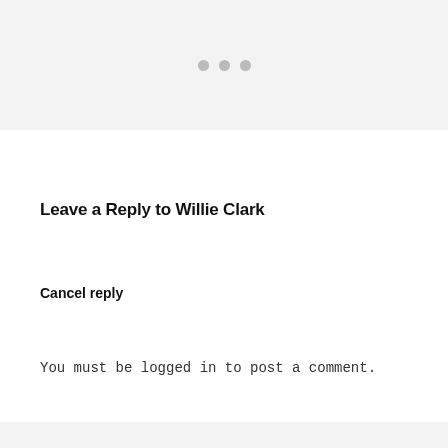[Figure (other): Three grey dots in a horizontal row on a light grey background header area]
Leave a Reply to Willie Clark
Cancel reply
You must be logged in to post a comment.